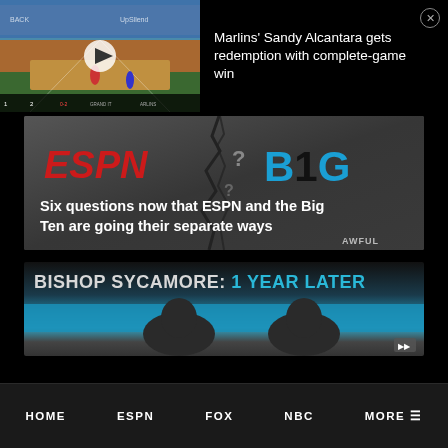[Figure (screenshot): Baseball game video thumbnail with scoreboard showing score 1-2]
Marlins' Sandy Alcantara gets redemption with complete-game win
[Figure (screenshot): ESPN and Big Ten (B1G) logos side by side with question mark crack motif and text: Six questions now that ESPN and the Big Ten are going their separate ways. AWFUL watermark.]
[Figure (screenshot): Bishop Sycamore: 1 Year Later - Two people sitting, teal background with text overlay]
HOME   ESPN   FOX   NBC   MORE ≡